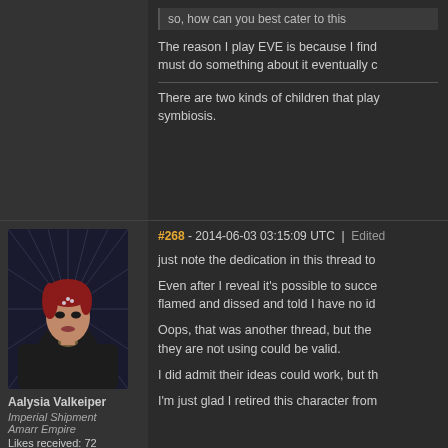so, how can you best cater to this
The reason I play EVE is because I find must do something about it eventually c
There are two kinds of children that play symbiosis.
[Figure (photo): Avatar portrait of a female character with red hair in a dark sci-fi style, wearing black outfit]
Aalysia Valkeiper
Imperial Shipment Amarr Empire
Likes received: 72
#268 - 2014-06-03 03:15:09 UTC | Edited
just note the dedication in this thread to
Even after I reveal it's possible to succe flamed and dissed and told I have no id
Oops, that was another thread, but the they are not using could be valid.
I did admit their ideas could work, but th
I'm just glad I retired this character from